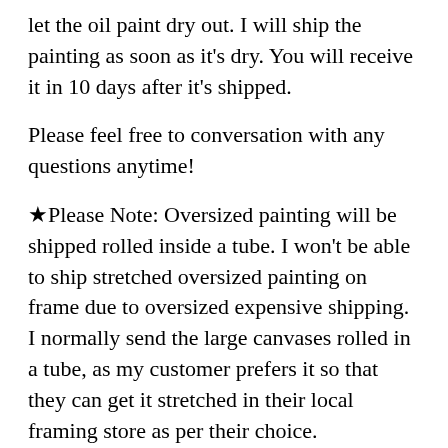let the oil paint dry out. I will ship the painting as soon as it's dry. You will receive it in 10 days after it's shipped.
Please feel free to conversation with any questions anytime!
★Please Note: Oversized painting will be shipped rolled inside a tube. I won't be able to ship stretched oversized painting on frame due to oversized expensive shipping. I normally send the large canvases rolled in a tube, as my customer prefers it so that they can get it stretched in their local framing store as per their choice.
This way you save unnecessary expensive shipment and eliminate the chances of getting damaged in shipping.